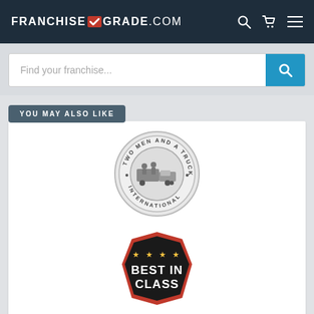FRANCHISEGRADE.COM
Find your franchise...
YOU MAY ALSO LIKE
[Figure (logo): Two Men and a Truck International circular logo in greyscale]
[Figure (logo): Best in Class badge with black background, red border, gold stars, and white bold text]
LEARN MORE